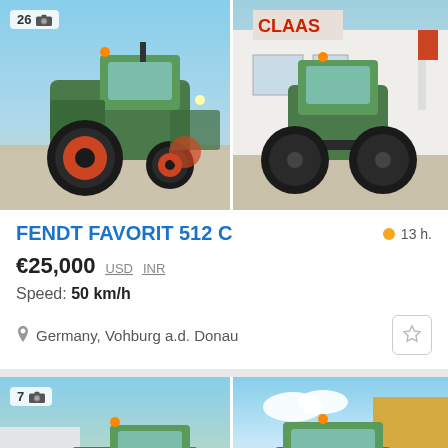[Figure (photo): Two photos of a Fendt Favorit 512 C tractor side by side. Left photo shows rear-left view of the green tractor with red wheels on paved lot. Has badge showing 26 photos. Right photo shows rear view of same tractor in front of a CLAAS dealership building.]
FENDT FAVORIT 512 C
13 h.
€25,000  USD  INR
Speed: 50 km/h
Germany, Vohburg a.d. Donau
[Figure (photo): Two photos of another tractor listing shown partially at bottom of page. Left photo shows front-left view of a green tractor with red wheels, badge showing 7 photos. Right photo shows front view of a similar green tractor in front of a yellow building.]